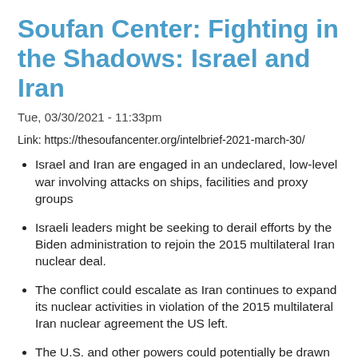Soufan Center: Fighting in the Shadows: Israel and Iran
Tue, 03/30/2021 - 11:33pm
Link: https://thesoufancenter.org/intelbrief-2021-march-30/
Israel and Iran are engaged in an undeclared, low-level war involving attacks on ships, facilities and proxy groups
Israeli leaders might be seeking to derail efforts by the Biden administration to rejoin the 2015 multilateral Iran nuclear deal.
The conflict could escalate as Iran continues to expand its nuclear activities in violation of the 2015 multilateral Iran nuclear agreement the US left.
The U.S. and other powers could potentially be drawn into the conflict as their commercial and national security interests become affected.